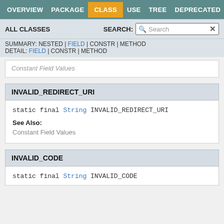OVERVIEW | PACKAGE | CLASS | USE | TREE | DEPRECATED
ALL CLASSES | SEARCH:
SUMMARY: NESTED | FIELD | CONSTR | METHOD
DETAIL: FIELD | CONSTR | METHOD
Constant Field Values
INVALID_REDIRECT_URI
static final String INVALID_REDIRECT_URI
See Also:
Constant Field Values
INVALID_CODE
static final String INVALID_CODE